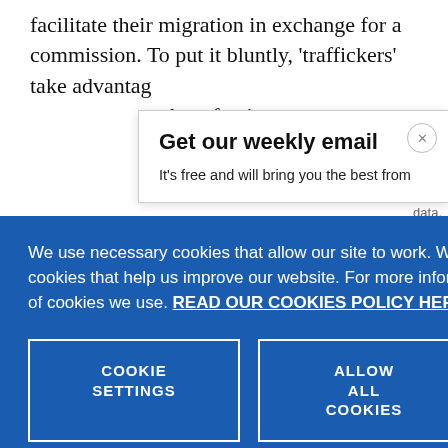facilitate their migration in exchange for a commission. To put it bluntly, 'traffickers' take advantage of … host fami… exploitat…
Get our weekly email
It's free and will bring you the best from
We use necessary cookies that allow our site to work. We also set optional cookies that help us improve our website. For more information about the types of cookies we use. READ OUR COOKIES POLICY HERE
COOKIE SETTINGS
ALLOW ALL COOKIES
data.
these wo